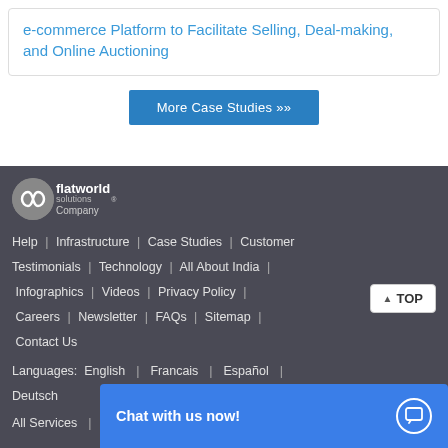e-commerce Platform to Facilitate Selling, Deal-making, and Online Auctioning
More Case Studies »»
[Figure (logo): Flatworld Solutions company logo - infinity symbol with text]
Help | Infrastructure | Case Studies | Customer Testimonials | Technology | All About India | Infographics | Videos | Privacy Policy | Careers | Newsletter | FAQs | Sitemap | Contact Us
Languages: English | Francais | Español | Deutsch
All Services | About Us
Chat with us now!